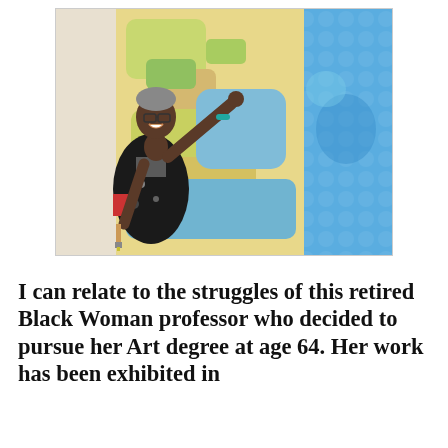[Figure (photo): A smiling Black woman wearing glasses and a paint-splattered black apron stands in front of two large canvases — one depicting a colorful world map with yellows, greens, and blues, and the other a solid sky-blue painting. She gestures toward the map painting with her right hand, and holds a paintbrush in her left hand.]
I can relate to the struggles of this retired Black Woman professor who decided to pursue her Art degree at age 64. Her work has been exhibited in